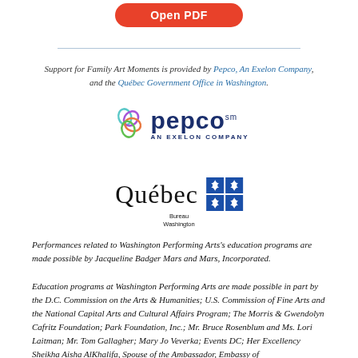[Figure (other): Red 'Open PDF' button]
[Figure (logo): Pepco An Exelon Company logo with colorful circular icon]
[Figure (logo): Québec Bureau Washington logo with blue fleur-de-lis grid]
Support for Family Art Moments is provided by Pepco, An Exelon Company, and the Québec Government Office in Washington.
Performances related to Washington Performing Arts's education programs are made possible by Jacqueline Badger Mars and Mars, Incorporated.
Education programs at Washington Performing Arts are made possible in part by the D.C. Commission on the Arts & Humanities; U.S. Commission of Fine Arts and the National Capital Arts and Cultural Affairs Program; The Morris & Gwendolyn Cafritz Foundation; Park Foundation, Inc.; Mr. Bruce Rosenblum and Ms. Lori Laitman; Mr. Tom Gallagher; Mary Jo Veverka; Events DC; Her Excellency Sheikha Aisha AlKhalifa, Spouse of the Ambassador, Embassy of